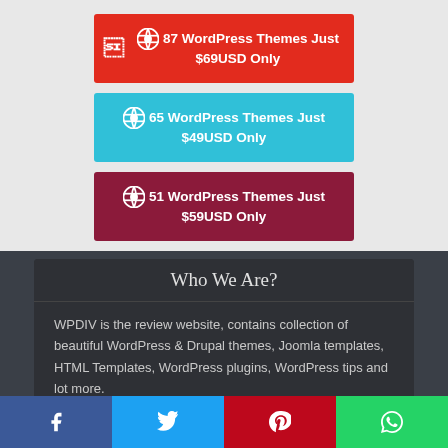87 WordPress Themes Just $69USD Only
65 WordPress Themes Just $49USD Only
51 WordPress Themes Just $59USD Only
Who We Are?
WPDIV is the review website, contains collection of beautiful WordPress & Drupal themes, Joomla templates, HTML Templates, WordPress plugins, WordPress tips and lot more.
We are affiliated with crypto market place...